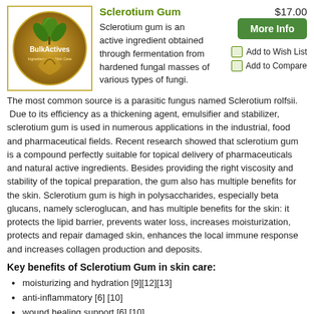$17.00
[Figure (logo): BulkActives circular logo with green leaf/plant design on a gold/brown background, text reads 'BulkActives Ingredients For Skin Care']
Sclerotium Gum
Sclerotium gum is an active ingredient obtained through fermentation from hardened fungal masses of various types of fungi.
More Info
Add to Wish List
Add to Compare
The most common source is a parasitic fungus named Sclerotium rolfsii. Due to its efficiency as a thickening agent, emulsifier and stabilizer, sclerotium gum is used in numerous applications in the industrial, food and pharmaceutical fields. Recent research showed that sclerotium gum is a compound perfectly suitable for topical delivery of pharmaceuticals and natural active ingredients. Besides providing the right viscosity and stability of the topical preparation, the gum also has multiple benefits for the skin. Sclerotium gum is high in polysaccharides, especially beta glucans, namely scleroglucan, and has multiple benefits for the skin: it protects the lipid barrier, prevents water loss, increases moisturization, protects and repair damaged skin, enhances the local immune response and increases collagen production and deposits.
Key benefits of Sclerotium Gum in skin care:
moisturizing and hydration [9][12][13]
anti-inflammatory [6] [10]
wound healing support [6] [10]
sun damage protection [10]
sun damage repair [10]
stimulate collagen production[11]
Anti-bacterial [11]
Antioxidant [10]
Restore barrier function [9][12][13]